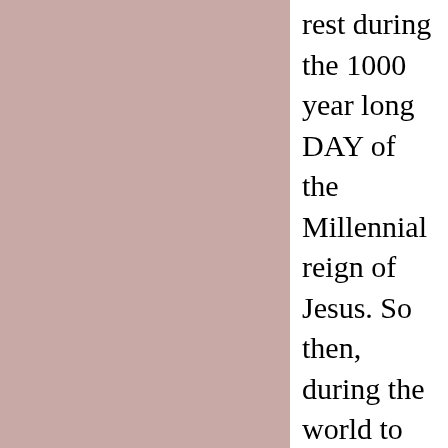rest during the 1000 year long DAY of the Millennial reign of Jesus. So then, during the world to come, Jesus will reign over the earth as